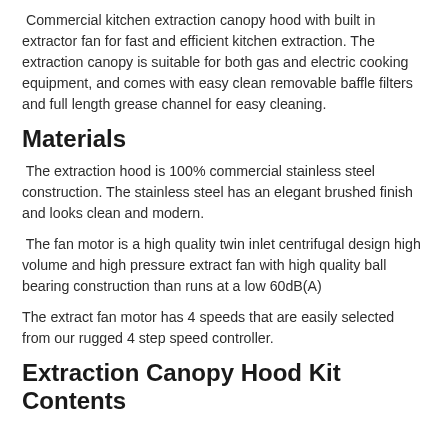Commercial kitchen extraction canopy hood with built in extractor fan for fast and efficient kitchen extraction. The extraction canopy is suitable for both gas and electric cooking equipment, and comes with easy clean removable baffle filters and full length grease channel for easy cleaning.
Materials
The extraction hood is 100% commercial stainless steel construction. The stainless steel has an elegant brushed finish and looks clean and modern.
The fan motor is a high quality twin inlet centrifugal design high volume and high pressure extract fan with high quality ball bearing construction than runs at a low 60dB(A)
The extract fan motor has 4 speeds that are easily selected from our rugged 4 step speed controller.
Extraction Canopy Hood Kit Contents